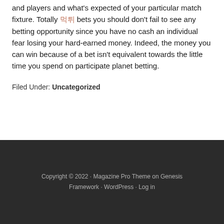and players and what's expected of your particular match fixture. Totally 먹튀 bets you should don't fail to see any betting opportunity since you have no cash an individual fear losing your hard-earned money. Indeed, the money you can win because of a bet isn't equivalent towards the little time you spend on participate planet betting.
Filed Under: Uncategorized
Copyright © 2022 · Magazine Pro Theme on Genesis Framework · WordPress · Log in